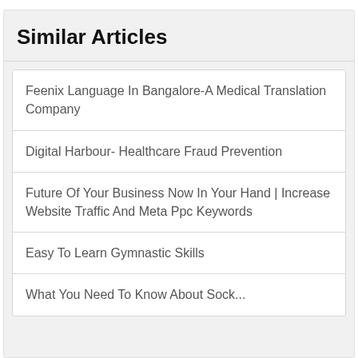Similar Articles
Feenix Language In Bangalore-A Medical Translation Company
Digital Harbour- Healthcare Fraud Prevention
Future Of Your Business Now In Your Hand | Increase Website Traffic And Meta Ppc Keywords
Easy To Learn Gymnastic Skills
What You Need To Know About Sock...